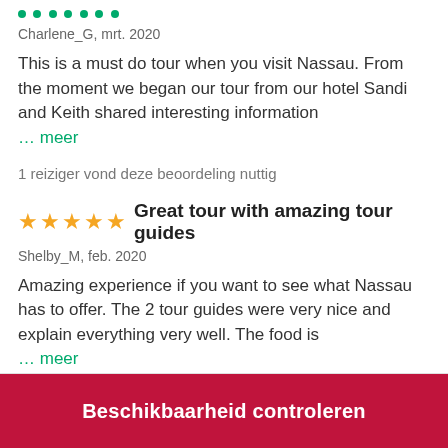Charlene_G, mrt. 2020
This is a must do tour when you visit Nassau. From the moment we began our tour from our hotel Sandi and Keith shared interesting information … meer
1 reiziger vond deze beoordeling nuttig
Great tour with amazing tour guides
Shelby_M, feb. 2020
Amazing experience if you want to see what Nassau has to offer. The 2 tour guides were very nice and explain everything very well. The food is … meer
Beschikbaarheid controleren